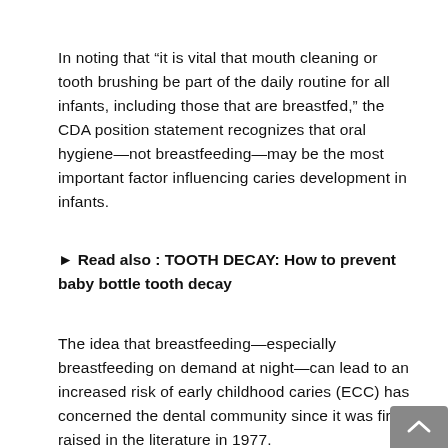In noting that “it is vital that mouth cleaning or tooth brushing be part of the daily routine for all infants, including those that are breastfed,” the CDA position statement recognizes that oral hygiene—not breastfeeding—may be the most important factor influencing caries development in infants.
► Read also : TOOTH DECAY: How to prevent baby bottle tooth decay
The idea that breastfeeding—especially breastfeeding on demand at night—can lead to an increased risk of early childhood caries (ECC) has concerned the dental community since it was first raised in the literature in 1977.